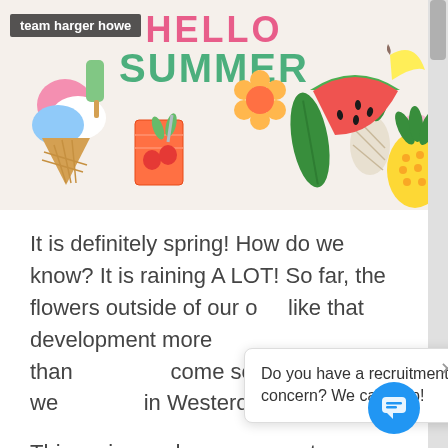[Figure (illustration): Hello Summer banner with colorful summer illustrations including ice cream, tropical drink, flowers, leaves, pineapples, watermelon, banana, popsicles, and orange slice on a cream background. Team harger howe label in top left.]
It is definitely spring! How do we know? It is raining A LOT! So far, the flowers outside of our o like that development more than come soon! After all, we in Westeros for 2 years!
[Figure (screenshot): Chat popup overlay: 'Do you have a recruitment concern? We can help!' with a close X button, and a blue circular chat button in bottom right corner.]
This spring and summer our team has lots of fun p ranging from local to international! Here are a few highlights.